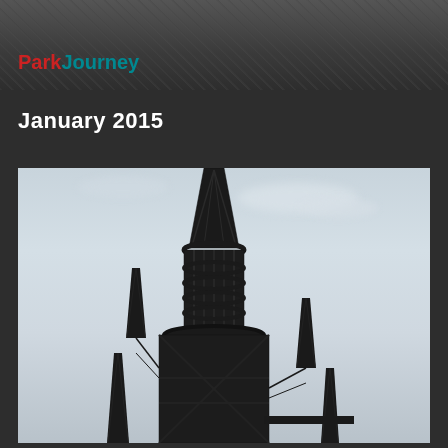[Figure (photo): Header photo showing a dark textured background at the top of the page with the ParkJourney logo overlaid]
ParkJourney
January 2015
[Figure (photo): Photo of a dark metal lattice tower/spire structure (resembling a castle or theme park tower) silhouetted against an overcast sky]